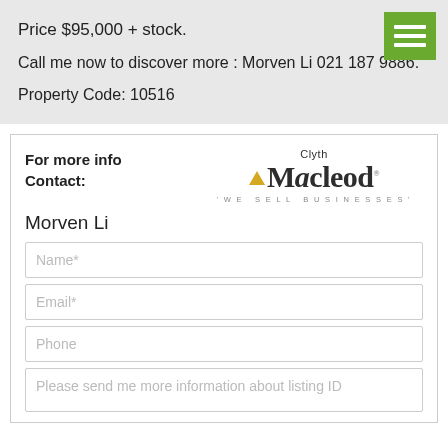Price $95,000 + stock.
Call me now to discover more : Morven Li 021 187 9886.
Property Code: 10516
For more info
Contact:
[Figure (logo): Clyth Macleod logo with triangle and tagline 'WE SELL BUSINESSES']
Morven Li
Name*
Email*
Phone
Please send me more information about listing ID